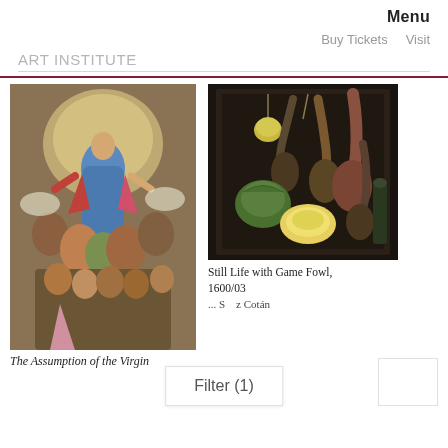Menu
Buy Tickets   Visit
ART INSTITUTE
[Figure (photo): El Greco painting: The Assumption of the Virgin, religious scene with figure ascending surrounded by angels and apostles below]
[Figure (photo): Still life painting with game fowl, vegetables and meat hanging in a dark window niche]
Still Life with Game Fowl, 1600/03
... S... z Cotán
Filter (1)
The Assumption of the Virgin